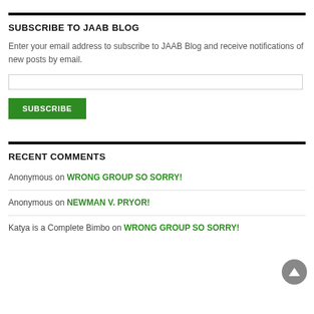SUBSCRIBE TO JAAB BLOG
Enter your email address to subscribe to JAAB Blog and receive notifications of new posts by email.
RECENT COMMENTS
Anonymous on WRONG GROUP SO SORRY!
Anonymous on NEWMAN V. PRYOR!
Katya is a Complete Bimbo on WRONG GROUP SO SORRY!